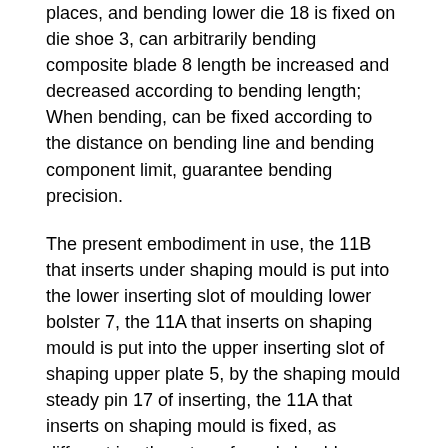places, and bending lower die 18 is fixed on die shoe 3, can arbitrarily bending composite blade 8 length be increased and decreased according to bending length; When bending, can be fixed according to the distance on bending line and bending component limit, guarantee bending precision.
The present embodiment in use, the 11B that inserts under shaping mould is put into the lower inserting slot of moulding lower bolster 7, the 11A that inserts on shaping mould is put into the upper inserting slot of shaping upper plate 5, by the shaping mould steady pin 17 of inserting, the 11A that inserts on shaping mould is fixed, as different in other step of need shoulder height, reinforcement, boss, rush bridge and all can be made into and insert, but change the moulding just complete operation of inserting up and down.In forming process, the flat part of having marked form wire is put on the 11B that inserts to the shaping mould, in upper bolster 4 decline processes, holding pad 6 can be by holding pad spring 12 elastic force parts are pushed down part can not be moved when the moulding, and the pressure that 4 lip blocks 13 are used for the whole mould of balance is evenly distributed power and